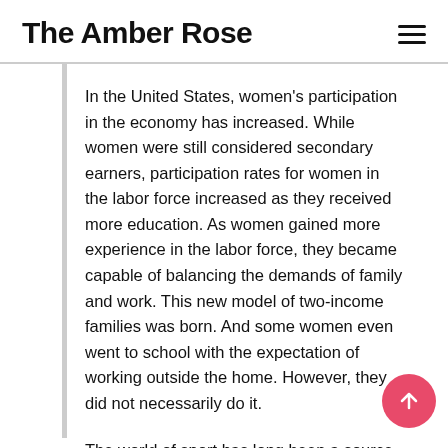The Amber Rose
In the United States, women’s participation in the economy has increased. While women were still considered secondary earners, participation rates for women in the labor force increased as they received more education. As women gained more experience in the labor force, they became capable of balancing the demands of family and work. This new model of two-income families was born. And some women even went to school with the expectation of working outside the home. However, they did not necessarily do it.
The world of sport has long been a source of inspiration for change. While women aren’t represented as frequently as men, sports have